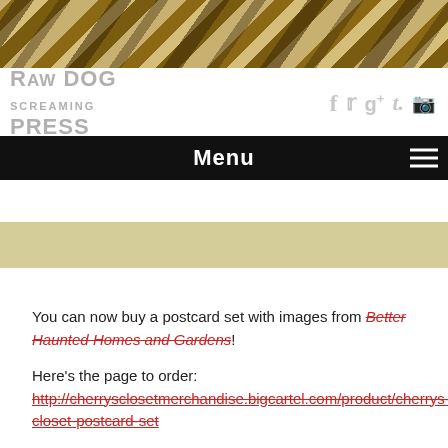[Figure (photo): Zebra stripe pattern banner at top of page]
RAW DOG SCREAMING PRESS — social icons: f, twitter, g+, t., camera
Menu
[Figure (other): Tan/khaki horizontal bar]
You can now buy a postcard set with images from Better Haunted Homes and Gardens!
Here's the page to order:
http://cherrysclosetmerchandise.bigcartel.com/product/cherrys-closet-postcard-set
Definitely check out the rest of the things in Cherry's Closet too.